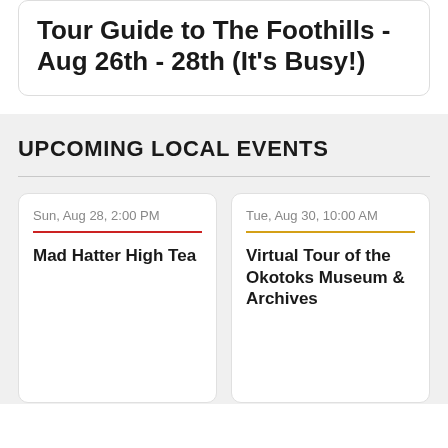Tour Guide to The Foothills - Aug 26th - 28th (It's Busy!)
UPCOMING LOCAL EVENTS
Sun, Aug 28, 2:00 PM
Mad Hatter High Tea
Tue, Aug 30, 10:00 AM
Virtual Tour of the Okotoks Museum & Archives